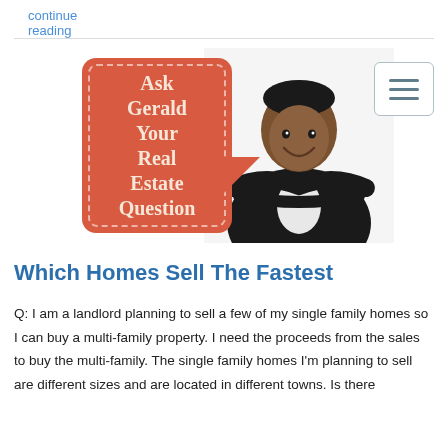continue reading
[Figure (illustration): Red speech bubble card with dashed white border containing text 'Ask Gerald Your Real Estate Question' with an arrow pointer, next to a photo of a smiling man in a black blazer with arms crossed, and a hamburger menu icon in the top right]
Which Homes Sell The Fastest
Q: I am a landlord planning to sell a few of my single family homes so I can buy a multi-family property. I need the proceeds from the sales to buy the multi-family. The single family homes I'm planning to sell are different sizes and are located in different towns. Is there